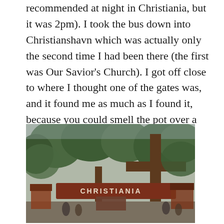recommended at night in Christiania, but it was 2pm). I took the bus down into Christianshavn which was actually only the second time I had been there (the first was Our Savior's Church). I got off close to where I thought one of the gates was, and it found me as much as I found it, because you could smell the pot over a block away.
[Figure (photo): Entrance gate to Christiania with a wooden cross-shaped structure and a horizontal sign reading 'CHRISTIANIA' in white letters on a dark red/brown background. Trees visible above and small buildings/stalls in the background with people walking around.]